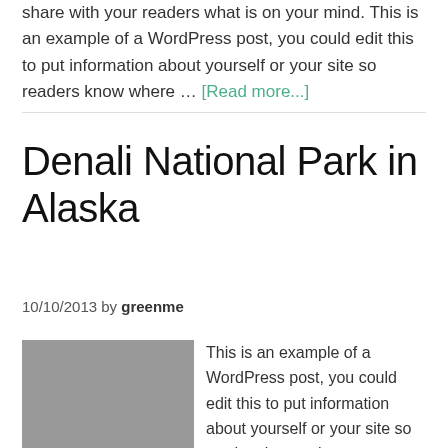share with your readers what is on your mind. This is an example of a WordPress post, you could edit this to put information about yourself or your site so readers know where … [Read more...]
10/10/2013 by greenme
Denali National Park in Alaska
[Figure (photo): Gray placeholder image for the post thumbnail]
This is an example of a WordPress post, you could edit this to put information about yourself or your site so readers know where you are coming